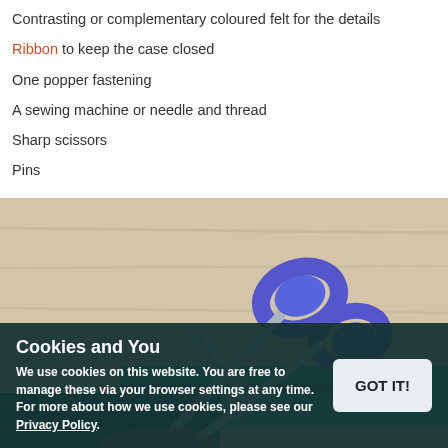Contrasting or complementary coloured felt for the details
Ribbon to keep the case closed
One popper fastening
A sewing machine or needle and thread
Sharp scissors
Pins
[Figure (photo): Blue-handled scissors resting on teal/turquoise felt fabric on a light wood surface, with a hand partially visible at the bottom]
Cookies and You
We use cookies on this website. You are free to manage these via your browser settings at any time. For more about how we use cookies, please see our Privacy Policy.